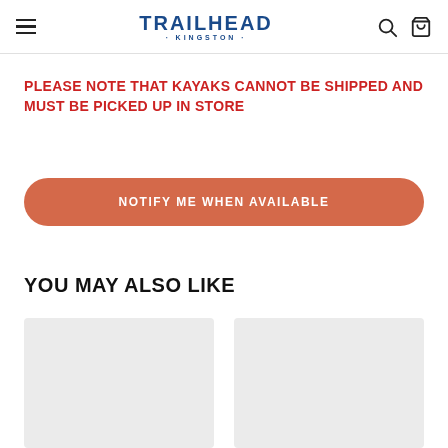Trailhead Kingston — navigation header with hamburger menu, logo, search and basket icons
PLEASE NOTE THAT KAYAKS CANNOT BE SHIPPED AND MUST BE PICKED UP IN STORE
NOTIFY ME WHEN AVAILABLE
YOU MAY ALSO LIKE
[Figure (other): Two light-grey product placeholder image cards side by side]